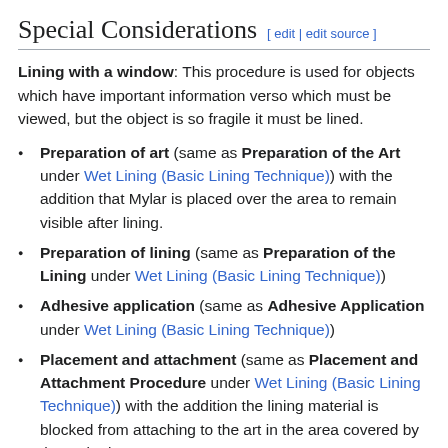Special Considerations
Lining with a window: This procedure is used for objects which have important information verso which must be viewed, but the object is so fragile it must be lined.
Preparation of art (same as Preparation of the Art under Wet Lining (Basic Lining Technique)) with the addition that Mylar is placed over the area to remain visible after lining.
Preparation of lining (same as Preparation of the Lining under Wet Lining (Basic Lining Technique))
Adhesive application (same as Adhesive Application under Wet Lining (Basic Lining Technique))
Placement and attachment (same as Placement and Attachment Procedure under Wet Lining (Basic Lining Technique)) with the addition the lining material is blocked from attaching to the art in the area covered by the Mylar insert.
Drying (same as Drying under Wet Lining (Basic Lining Technique)). Once object is dry, the lining is cut around the Mylar and removed, or the lining is cut on three sides